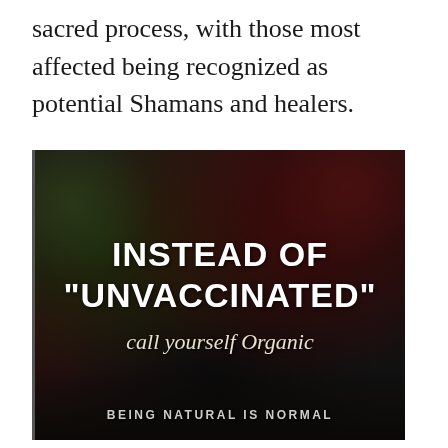sacred process, with those most affected being recognized as potential Shamans and healers.
[Figure (photo): Dark moody photo of food/plants (berries, greenery, fabric) with overlaid text: 'INSTEAD OF "UNVACCINATED" call yourself Organic' and footer text 'BEING NATURAL IS NORMAL']